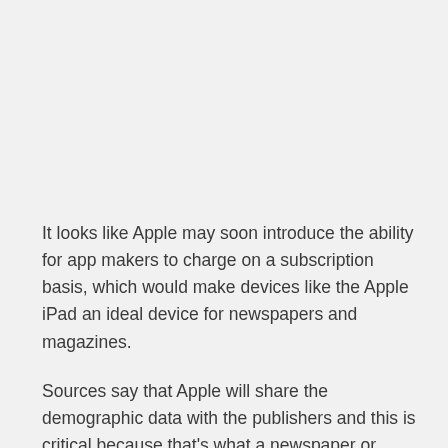It looks like Apple may soon introduce the ability for app makers to charge on a subscription basis, which would make devices like the Apple iPad an ideal device for newspapers and magazines.
Sources say that Apple will share the demographic data with the publishers and this is critical because that's what a newspaper or magazine needs to effectively court advertisers. When the Apple iPad was first introduced in January, many publishers were upset that Apple didn't